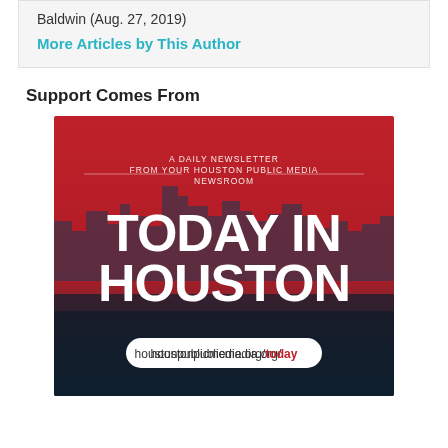Baldwin (Aug. 27, 2019)
More Articles by This Author
Support Comes From
[Figure (illustration): Advertisement banner for 'Today in Houston' daily newsletter from Houston Public Media newsroom. Red background with Houston skyline silhouette, large white bold text reading 'TODAY IN HOUSTON', subtitle 'A DAILY NEWSLETTER FROM YOUR HOUSTON PUBLIC MEDIA NEWSROOM', and URL houstonpublicmedia.org/today in a white rounded rectangle.]